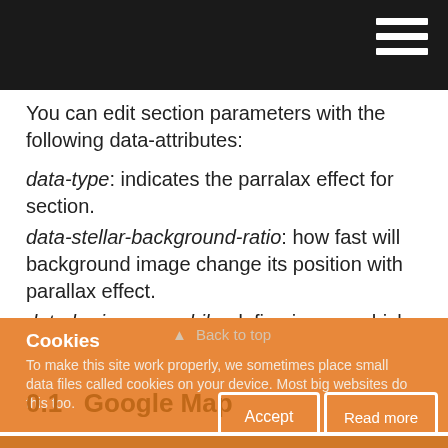You can edit section parameters with the following data-attributes:
data-type: indicates the parralax effect for section.
data-stellar-background-ratio: how fast will background image change its position with parallax effect.
data-bg-image-mobile: define image, which should be displayed on mobile devices.
Cookies
To make this site work properly, we sometimes place small data files called cookies on your device. Most big websites do this too.
0.1  Google Map